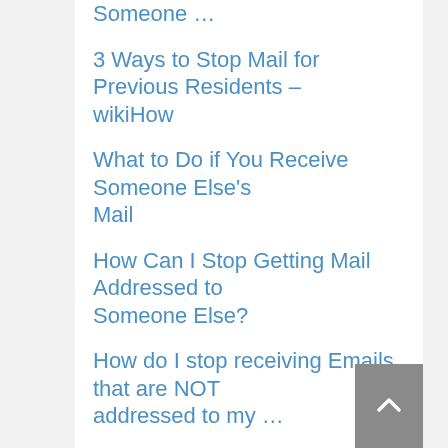Someone …
3 Ways to Stop Mail for Previous Residents – wikiHow
What to Do if You Receive Someone Else's Mail
How Can I Stop Getting Mail Addressed to Someone Else?
How do I stop receiving Emails that are NOT addressed to my …
Is it illegal to keep someone else's mail? – Quora
People Also Ask – How To Stop Receiving Someone Elseƒ??S Mail
How to stop receiving mail addressed to